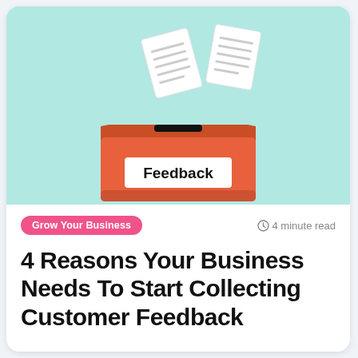[Figure (illustration): Illustration of an orange feedback box (suggestion box) with a slot on top and a white label reading 'Feedback' in bold black text. Two white paper documents with horizontal lines are shown flying/falling into the slot, set against a light teal/mint background.]
Grow Your Business   ⏱ 4 minute read
4 Reasons Your Business Needs To Start Collecting Customer Feedback